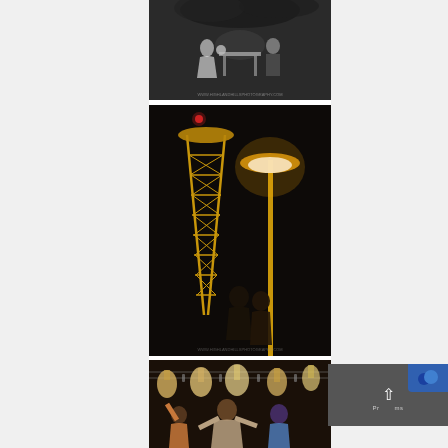[Figure (photo): Black and white wedding photo showing a couple at a table outdoors, with trees in background. Small watermark text at bottom.]
[Figure (photo): Night photography showing a yellow lattice tower/structure and a street lamp with warm light, small couple silhouetted in foreground. Dark background. Watermark text at bottom.]
[Figure (photo): Indoor party/reception scene with lanterns and string lights hanging from ceiling, people dancing. Dark ambiance.]